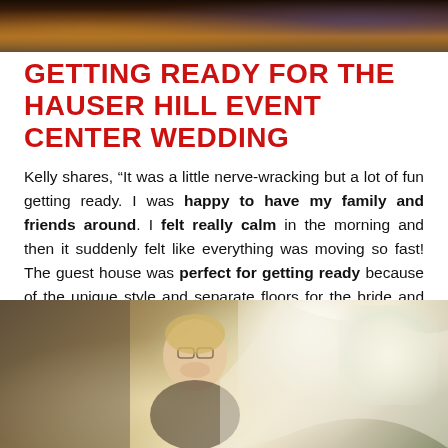[Figure (photo): Top portion of a wedding photo showing people in formal attire, cropped at the top of the page]
GETTING READY FOR THE HAUSER HILL EVENT CENTER WEDDING
Kelly shares, “It was a little nerve-wracking but a lot of fun getting ready. I was happy to have my family and friends around. I felt really calm in the morning and then it suddenly felt like everything was moving so fast! The guest house was perfect for getting ready because of the unique style and separate floors for the bride and groom.”
[Figure (photo): A smiling bride with glasses and blonde hair pulled up, looking at a wedding dress hanging nearby, with natural window light in the background]